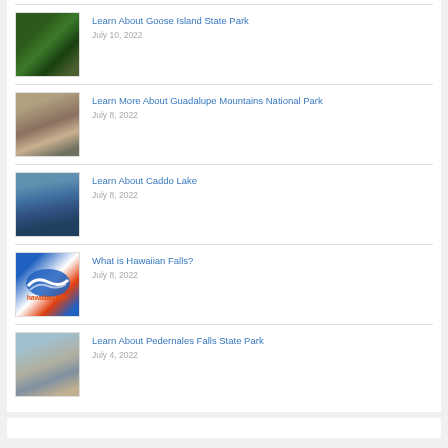Learn About Goose Island State Park — July 10, 2022
Learn More About Guadalupe Mountains National Park — July 8, 2022
Learn About Caddo Lake — July 8, 2022
What is Hawaiian Falls? — July 8, 2022
Learn About Pedernales Falls State Park — July 4, 2022